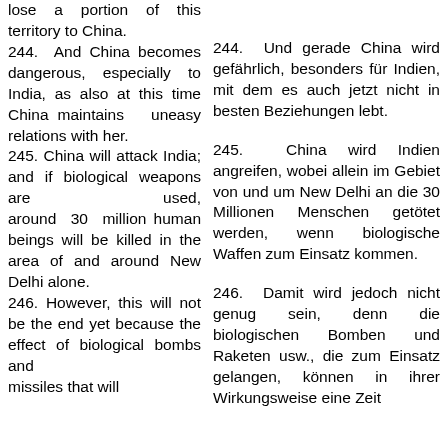lose a portion of this territory to China.
244. And China becomes dangerous, especially to India, as also at this time China maintains uneasy relations with her.
245. China will attack India; and if biological weapons are used, around 30 million human beings will be killed in the area of and around New Delhi alone.
246. However, this will not be the end yet because the effect of biological bombs and missiles that will
244. Und gerade China wird gefährlich, besonders für Indien, mit dem es auch jetzt nicht in besten Beziehungen lebt.
245. China wird Indien angreifen, wobei allein im Gebiet von und um New Delhi an die 30 Millionen Menschen getötet werden, wenn biologische Waffen zum Einsatz kommen.
246. Damit wird jedoch nicht genug sein, denn die biologischen Bomben und Raketen usw., die zum Einsatz gelangen, können in ihrer Wirkungsweise eine Zeit